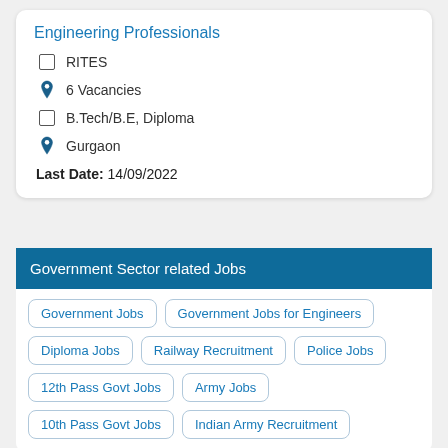Engineering Professionals
RITES
6 Vacancies
B.Tech/B.E, Diploma
Gurgaon
Last Date: 14/09/2022
Government Sector related Jobs
Government Jobs
Government Jobs for Engineers
Diploma Jobs
Railway Recruitment
Police Jobs
12th Pass Govt Jobs
Army Jobs
10th Pass Govt Jobs
Indian Army Recruitment